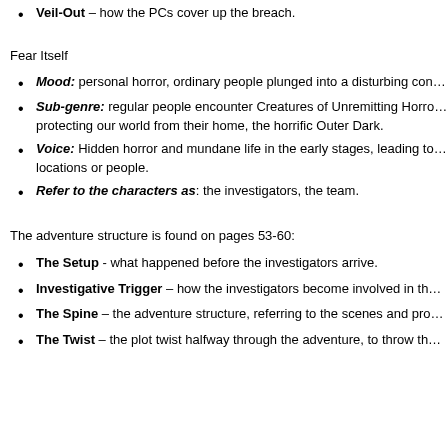Veil-Out – how the PCs cover up the breach.
Fear Itself
Mood: personal horror, ordinary people plunged into a disturbing con…
Sub-genre: regular people encounter Creatures of Unremitting Horro… protecting our world from their home, the horrific Outer Dark.
Voice: Hidden horror and mundane life in the early stages, leading to… locations or people.
Refer to the characters as: the investigators, the team.
The adventure structure is found on pages 53-60:
The Setup - what happened before the investigators arrive.
Investigative Trigger – how the investigators become involved in th…
The Spine – the adventure structure, referring to the scenes and pro…
The Twist – the plot twist halfway through the adventure, to throw th…